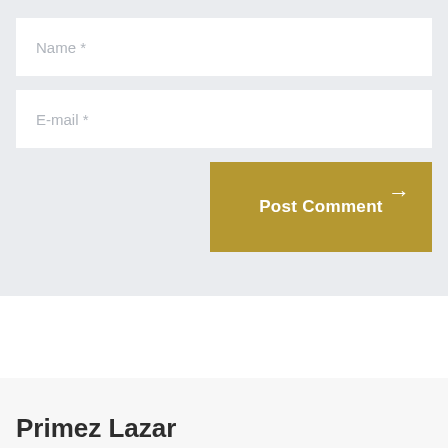[Figure (screenshot): Web form input field with placeholder text 'Name *' on a light gray background]
[Figure (screenshot): Web form input field with placeholder text 'E-mail *' on a light gray background]
[Figure (screenshot): Golden/tan colored 'Post Comment' button with right arrow icon]
Primez Lazar